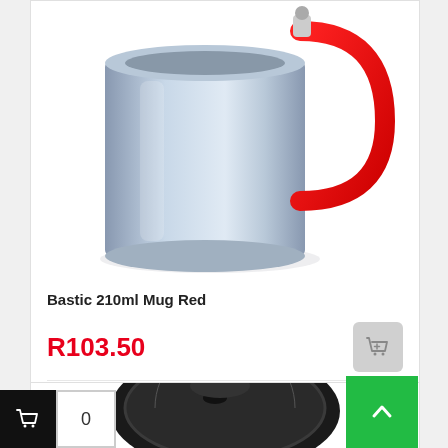[Figure (photo): Stainless steel mug with red carabiner-style handle, viewed from upper angle]
Bastic 210ml Mug Red
R103.50
Wishlist
[Figure (photo): Black silicone lid for a travel cup, viewed from above]